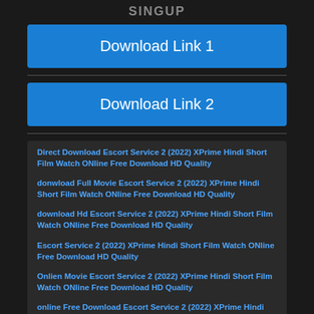SINGUP
Download Link 1
Download Link 2
Direct Download Escort Service 2 (2022) XPrime Hindi Short Film Watch ONline Free Download HD Quality
donwload Full Movie Escort Service 2 (2022) XPrime Hindi Short Film Watch ONline Free Download HD Quality
download Hd Escort Service 2 (2022) XPrime Hindi Short Film Watch ONline Free Download HD Quality
Escort Service 2 (2022) XPrime Hindi Short Film Watch ONline Free Download HD Quality
Onlien Movie Escort Service 2 (2022) XPrime Hindi Short Film Watch ONline Free Download HD Quality
online Free Download Escort Service 2 (2022) XPrime Hindi Short Film Watch ONline Free Download HD Quality